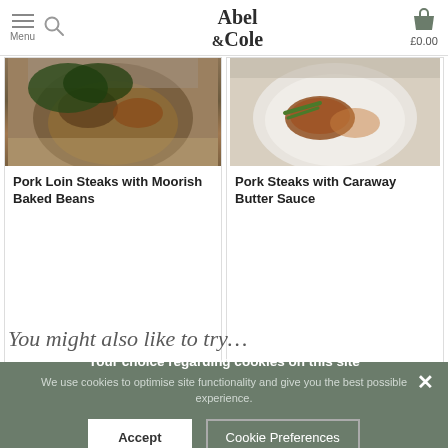Abel & Cole — Menu, Search, £0.00
[Figure (photo): Photo of Pork Loin Steaks with Moorish Baked Beans dish in a bowl]
Pork Loin Steaks with Moorish Baked Beans
50 mins · 2 people
[Figure (photo): Photo of Pork Steaks with Caraway Butter Sauce on a white plate]
Pork Steaks with Caraway Butter Sauce
20 mins · 2 people
You might also like to try…
Your choice regarding cookies on this site
We use cookies to optimise site functionality and give you the best possible experience.
Accept
Cookie Preferences